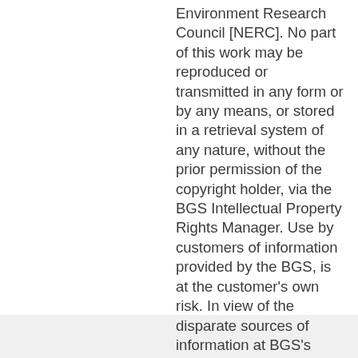Environment Research Council [NERC]. No part of this work may be reproduced or transmitted in any form or by any means, or stored in a retrieval system of any nature, without the prior permission of the copyright holder, via the BGS Intellectual Property Rights Manager. Use by customers of information provided by the BGS, is at the customer's own risk. In view of the disparate sources of information at BGS's disposal, including such material donated to BGS, that BGS accepts in good faith as being accurate, the Natural Environment Research